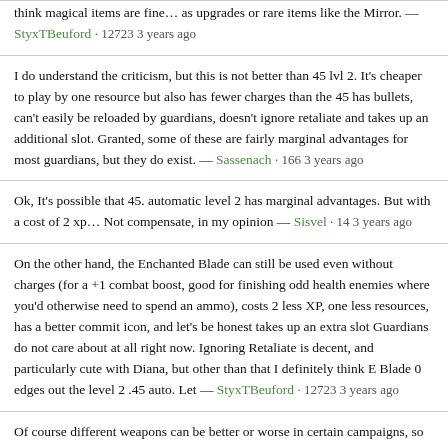think magical items are fine… as upgrades or rare items like the Mirror. — StyxTBeuford · 12723 3 years ago
I do understand the criticism, but this is not better than 45 lvl 2. It's cheaper to play by one resource but also has fewer charges than the 45 has bullets, can't easily be reloaded by guardians, doesn't ignore retaliate and takes up an additional slot. Granted, some of these are fairly marginal advantages for most guardians, but they do exist. — Sassenach · 166 3 years ago
Ok, It's possible that 45. automatic level 2 has marginal advantages. But with a cost of 2 xp… Not compensate, in my opinion — Sisvel · 14 3 years ago
On the other hand, the Enchanted Blade can still be used even without charges (for a +1 combat boost, good for finishing odd health enemies where you'd otherwise need to spend an ammo), costs 2 less XP, one less resources, has a better commit icon, and let's be honest takes up an extra slot Guardians do not care about at all right now. Ignoring Retaliate is decent, and particularly cute with Diana, but other than that I definitely think E Blade 0 edges out the level 2 .45 auto. Let — StyxTBeuford · 12723 3 years ago
Of course different weapons can be better or worse in certain campaigns, so there's arguments for level 2 .45 in certain contexts, but in a vacuum I think it's a really easy choice. —